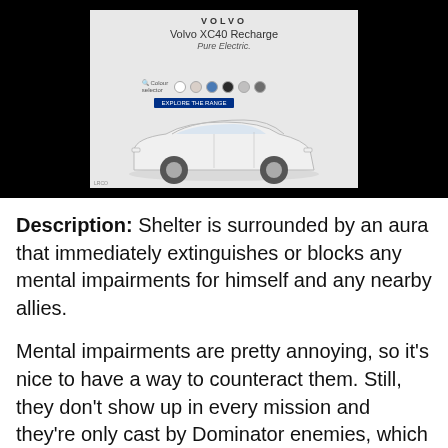[Figure (screenshot): Volvo XC40 Recharge Pure Electric advertisement banner with color swatches and car image on dark background]
Description: Shelter is surrounded by an aura that immediately extinguishes or blocks any mental impairments for himself and any nearby allies.
Mental impairments are pretty annoying, so it's nice to have a way to counteract them. Still, they don't show up in every mission and they're only cast by Dominator enemies, which are squishy and easy to kill, making this move highly situational, and a defensive move during a situation where a